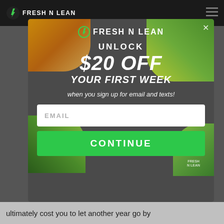[Figure (screenshot): Fresh N Lean website screenshot showing dark top navigation bar with logo and hamburger menu]
[Figure (photo): Modal popup overlay on Fresh N Lean website with food meal photos in corners on dark grey background]
FRESH N LEAN
UNLOCK
$20 OFF
YOUR FIRST WEEK
when you sign up for email and texts!
EMAIL
CONTINUE
ultimately cost you to let another year go by